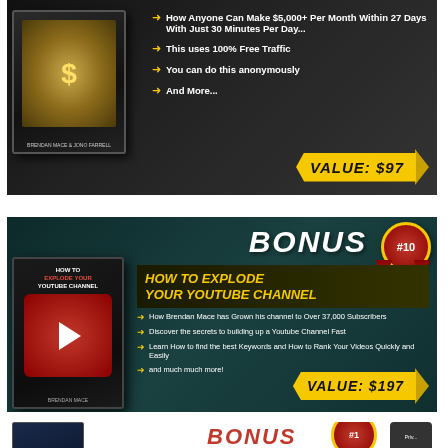[Figure (infographic): Top portion of a bonus product banner showing a black box product with money imagery, bullet points: 'How Anyone Can Make $5,000+ Per Month Within 27 Days With Just 30 Minutes Per Day...', 'This uses 100% Free Traffic', 'You can do this anonymously', 'And More...', with VALUE: $97 badge.]
[Figure (infographic): BONUS #10 banner on dark teal background. Product: 'HOW TO EXPLODE YOUR YOUTUBE CHANNEL' by Brendan Mace. Bullet points: 'How Brendan Mace has Grown his channel to Over 37,000 Subscribers', 'Discover the secrets to building up a Youtube Channel Fast', 'Learn How to find the best Keywords and How to Rank Your Videos Quickly and Easily', 'and much much more!'. VALUE: $197 badge. Red award ribbon with #10.]
[Figure (infographic): Partial view of BONUS #11 banner at bottom of page, showing a dark blue product box and partial red award ribbon.]